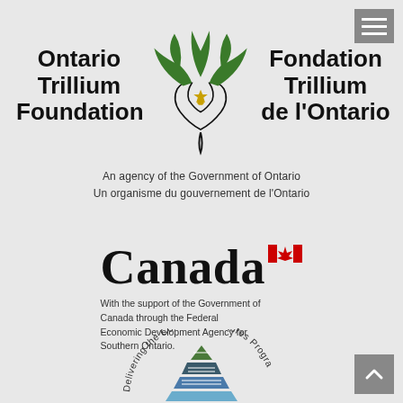[Figure (logo): Ontario Trillium Foundation / Fondation Trillium de l'Ontario logo with trillium flower, bilingual text left and right, and tagline 'An agency of the Government of Ontario / Un organisme du gouvernement de l'Ontario']
[Figure (logo): Canada wordmark logo with maple leaf flag icon, with caption: 'With the support of the Government of Canada through the Federal Economic Development Agency for Southern Ontario.']
[Figure (logo): Community Futures Program logo (partially visible) showing pyramid graphic with circular text 'Delivering the Community Futures Program']